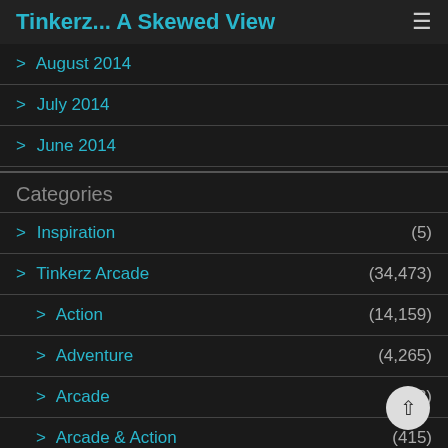Tinkerz... A Skewed View
> August 2014
> July 2014
> June 2014
Categories
> Inspiration (5)
> Tinkerz Arcade (34,473)
> Action (14,159)
> Adventure (4,265)
> Arcade (123)
> Arcade & Action (415)
> Board Game (1...